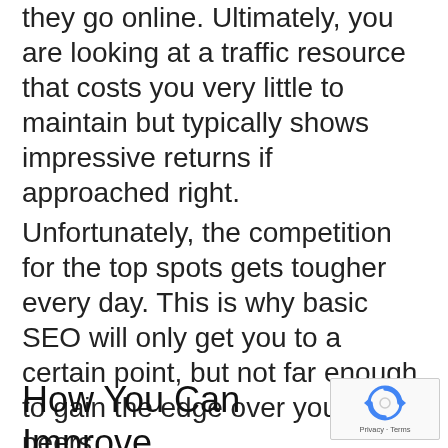they go online. Ultimately, you are looking at a traffic resource that costs you very little to maintain but typically shows impressive returns if approached right.
Unfortunately, the competition for the top spots gets tougher every day. This is why basic SEO will only get you to a certain point, but not far enough to gain the edge over your peers.
How You Can Improve
[Figure (other): reCAPTCHA badge with circular arrow icon and Privacy - Terms text]